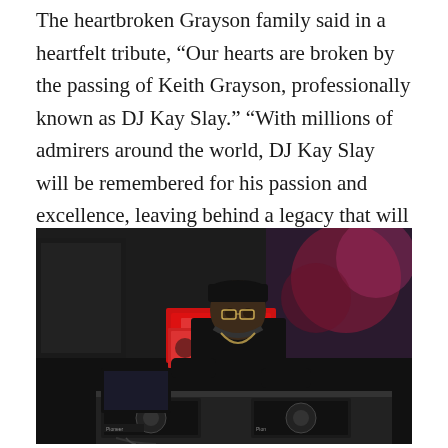The heartbroken Grayson family said in a heartfelt tribute, “Our hearts are broken by the passing of Keith Grayson, professionally known as DJ Kay Slay.” “With millions of admirers around the world, DJ Kay Slay will be remembered for his passion and excellence, leaving behind a legacy that will last generations.”
They continued.
[Figure (photo): DJ Kay Slay performing behind DJ equipment, wearing a black outfit, black cap, headphones around neck, and gold chain. He is surrounded by DJ gear including Pioneer equipment. In the background there is red signage and a colorful projected backdrop.]